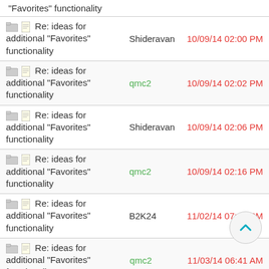"Favorites" functionality  (truncated top row)
Re: ideas for additional "Favorites" functionality — Shideravan — 10/09/14 02:00 PM
Re: ideas for additional "Favorites" functionality — qmc2 — 10/09/14 02:02 PM
Re: ideas for additional "Favorites" functionality — Shideravan — 10/09/14 02:06 PM
Re: ideas for additional "Favorites" functionality — qmc2 — 10/09/14 02:16 PM
Re: ideas for additional "Favorites" functionality — B2K24 — 11/02/14 07:10 PM
Re: ideas for additional "Favorites" functionality — qmc2 — 11/03/14 06:41 AM
Re: ideas for additional "Favorites" functionality — B2K24 — 11/03/14 07:44 AM
Re: ideas for additional "Favorites" functionality — qmc2 — 11/03/14 08:01 AM
Re: ideas for additional "Favorites" functionality — B2K24 — 11/03/14 08:21 AM